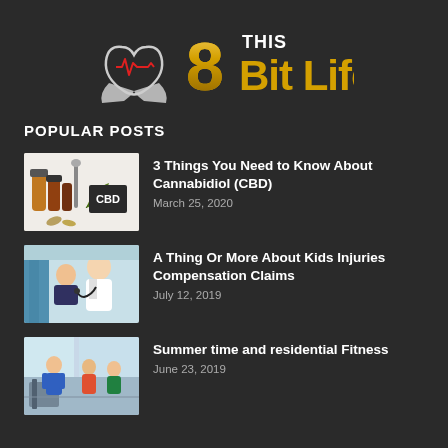[Figure (logo): 8 Bit Life logo with heart-pulse icon, large gold '8', text 'THIS Bit Life' in white and gold]
POPULAR POSTS
[Figure (photo): CBD products: bottles, dropper, hemp leaf and blackboard with 'CBD' written on it]
3 Things You Need to Know About Cannabidiol (CBD)
March 25, 2020
[Figure (photo): Doctor examining a child patient, medical office setting]
A Thing Or More About Kids Injuries Compensation Claims
July 12, 2019
[Figure (photo): People exercising in a gym/fitness center setting]
Summer time and residential Fitness
June 23, 2019